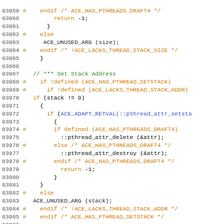[Figure (screenshot): Source code listing in C/C++ with syntax highlighting. Line numbers 03959-03989 shown. Dark orange for keywords/preprocessor, blue for function calls, dark for normal code. Background is white.]